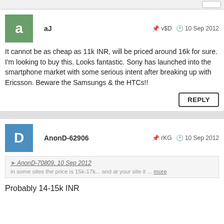aJ  v$D  10 Sep 2012
It cannot be as cheap as 11k INR, will be priced around 16k for sure. I'm looking to buy this. Looks fantastic. Sony has launched into the smartphone market with some serious intent after breaking up with Ericsson. Beware the Samsungs & the HTCs!!
REPLY
AnonD-62906  rKG  10 Sep 2012
AnonD-70809, 10 Sep 2012
in some sites the price is 15k-17k... and at your site it ... more
Probably 14-15k INR